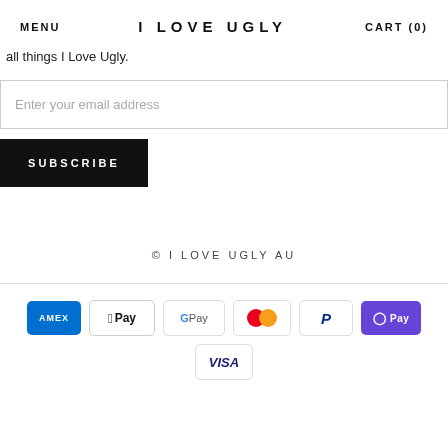MENU   I LOVE UGLY   CART (0)
all things I Love Ugly.
Enter your email address
SUBSCRIBE
© I LOVE UGLY AU
[Figure (logo): Payment method icons: American Express, Apple Pay, Google Pay, Mastercard, PayPal, OPay, Visa]